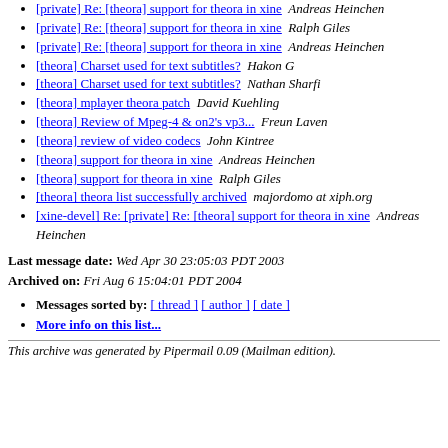[private] Re: [theora] support for theora in xine  Andreas Heinchen
[private] Re: [theora] support for theora in xine  Ralph Giles
[private] Re: [theora] support for theora in xine  Andreas Heinchen
[theora] Charset used for text subtitles?  Hakon G
[theora] Charset used for text subtitles?  Nathan Sharfi
[theora] mplayer theora patch  David Kuehling
[theora] Review of Mpeg-4 & on2's vp3...  Freun Laven
[theora] review of video codecs  John Kintree
[theora] support for theora in xine  Andreas Heinchen
[theora] support for theora in xine  Ralph Giles
[theora] theora list successfully archived  majordomo at xiph.org
[xine-devel] Re: [private] Re: [theora] support for theora in xine  Andreas Heinchen
Last message date: Wed Apr 30 23:05:03 PDT 2003
Archived on: Fri Aug 6 15:04:01 PDT 2004
Messages sorted by: [ thread ] [ author ] [ date ]
More info on this list...
This archive was generated by Pipermail 0.09 (Mailman edition).